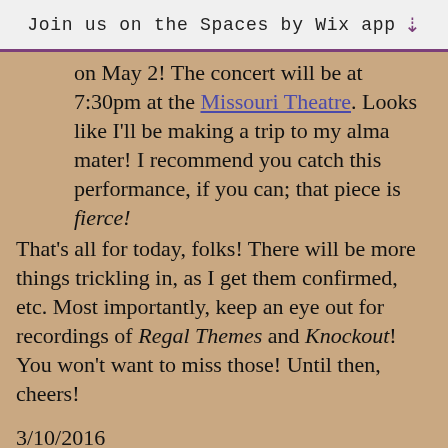Join us on the Spaces by Wix app ↓
on May 2!  The concert will be at 7:30pm at the Missouri Theatre.  Looks like I'll be making a trip to my alma mater!  I recommend you catch this performance, if you can; that piece is fierce!  That's all for today, folks!  There will be more things trickling in, as I get them confirmed, etc.  Most importantly, keep an eye out for recordings of Regal Themes and Knockout!  You won't want to miss those!  Until then, cheers!
3/10/2016
Today's installment: Stuff that has Already Happened
Regal Themes was